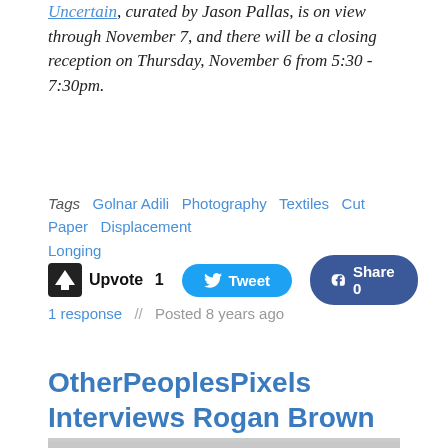Uncertain, curated by Jason Pallas, is on view through November 7, and there will be a closing reception on Thursday, November 6 from 5:30 - 7:30pm.
Tags  Golnar Adili  Photography  Textiles  Cut Paper  Displacement  Longing
Upvote 1   Tweet   Share 0
1 response  //  Posted 8 years ago
OtherPeoplesPixels Interviews Rogan Brown
[Figure (photo): Partial view of a detailed intricate paper-cut artwork by Rogan Brown, showing a cloud-like organic form made of densely packed small elements on a light grey background.]